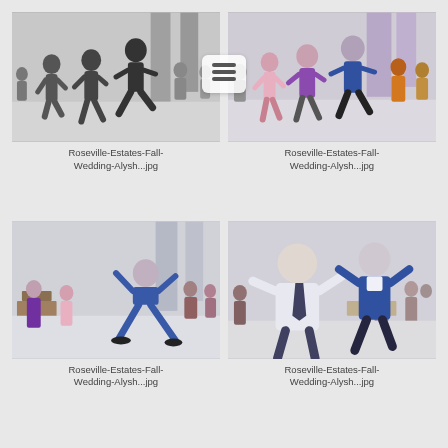[Figure (photo): Black and white photo of people dancing at a wedding reception in a large hall]
Roseville-Estates-Fall-Wedding-Alysh...jpg
[Figure (photo): Color photo of people dancing at a wedding reception, with a hamburger menu icon overlay between the two top photos]
Roseville-Estates-Fall-Wedding-Alysh...jpg
[Figure (photo): Color photo of a man in a blue suit doing a dramatic dance move at a wedding reception]
Roseville-Estates-Fall-Wedding-Alysh...jpg
[Figure (photo): Color photo of two men laughing and celebrating at a wedding reception]
Roseville-Estates-Fall-Wedding-Alysh...jpg